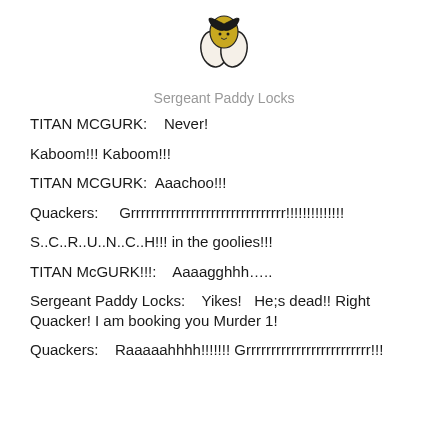[Figure (illustration): Small hand-drawn illustration of a character with a black and gold winged or padlock-like shape, centered at top of page]
Sergeant Paddy Locks
TITAN MCGURK:    Never!
Kaboom!!! Kaboom!!!
TITAN MCGURK:  Aaachoo!!!
Quackers:     Grrrrrrrrrrrrrrrrrrrrrrrrrrrrrrr!!!!!!!!!!!!!!
S..C..R..U..N..C..H!!! in the goolies!!!
TITAN McGURK!!!:    Aaaagghhh…..
Sergeant Paddy Locks:    Yikes!   He;s dead!! Right Quacker! I am booking you Murder 1!
Quackers:     Raaaaahhhh!!!!!!! Grrrrrrrrrrrrrrrrrrrrrrrrr!!!